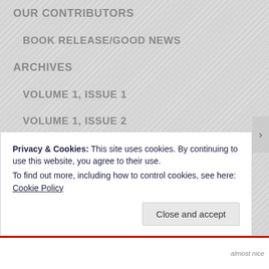OUR CONTRIBUTORS
BOOK RELEASE/GOOD NEWS
ARCHIVES
VOLUME 1, ISSUE 1
VOLUME 1, ISSUE 2
VOLUME 2, ISSUE 1
VOLUME 2, ISSUE 2
VOLUME 3, ISSUE 1
VOLUME 3, ISSUE 2
VOLUME 4, ISSUE 1
Privacy & Cookies: This site uses cookies. By continuing to use this website, you agree to their use.
To find out more, including how to control cookies, see here: Cookie Policy
Close and accept